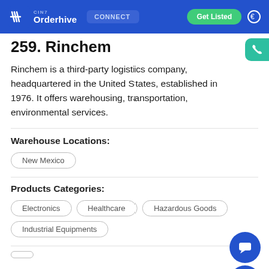CIN7 Orderhive | CONNECT | Get Listed
259. Rinchem
Rinchem is a third-party logistics company, headquartered in the United States, established in 1976. It offers warehousing, transportation, environmental services.
Warehouse Locations:
New Mexico
Products Categories:
Electronics
Healthcare
Hazardous Goods
Industrial Equipments